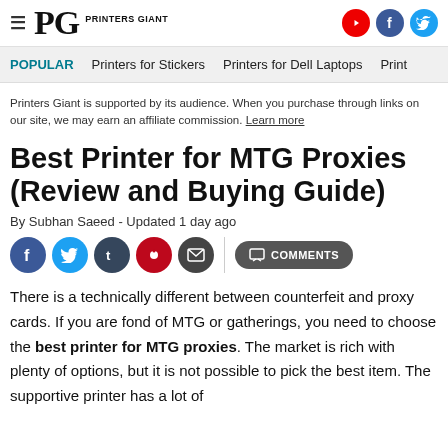PG PRINTERS GIANT
POPULAR   Printers for Stickers   Printers for Dell Laptops   Print...
Printers Giant is supported by its audience. When you purchase through links on our site, we may earn an affiliate commission. Learn more
Best Printer for MTG Proxies (Review and Buying Guide)
By Subhan Saeed - Updated 1 day ago
There is a technically different between counterfeit and proxy cards. If you are fond of MTG or gatherings, you need to choose the best printer for MTG proxies. The market is rich with plenty of options, but it is not possible to pick the best item. The supportive printer has a lot of